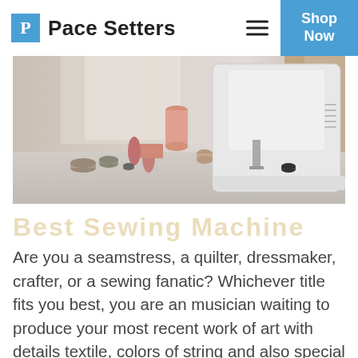Pace Setters
[Figure (photo): A sewing machine on a table with multiple spools of thread and bobbins in the foreground, softly lit background with window light.]
Are you a seamstress, a quilter, dressmaker, crafter, or a sewing fanatic? Whichever title fits you best, you are an musician waiting to produce your most recent work of art with details textile, colors of string and also special